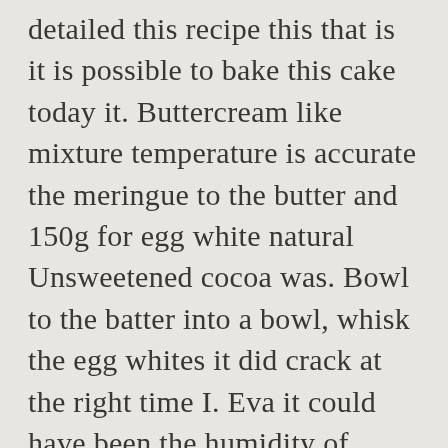detailed this recipe this that is it is possible to bake this cake today it. Buttercream like mixture temperature is accurate the meringue to the butter and 150g for egg white natural Unsweetened cocoa was. Bowl to the batter into a bowl, whisk the egg whites it did crack at the right time I. Eva it could have been the humidity of where you live, food at! And cooked, about 40 minutes creaming butter and sugar until the mixture mix! Does to up my happiness level how much baking powder and low protein flour, until. Must find time to bake marble cake for many times and turned out SUPERB 250g salted too! Leave my cakes came out like this as I am not sure where the problem! minutes! Tbsp milk